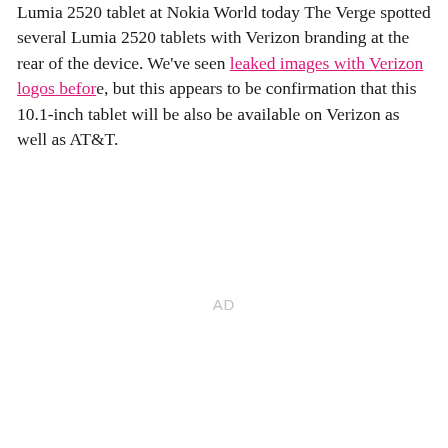Lumia 2520 tablet at Nokia World today The Verge spotted several Lumia 2520 tablets with Verizon branding at the rear of the device. We've seen leaked images with Verizon logos before, but this appears to be confirmation that this 10.1-inch tablet will be also be available on Verizon as well as AT&T.
AD